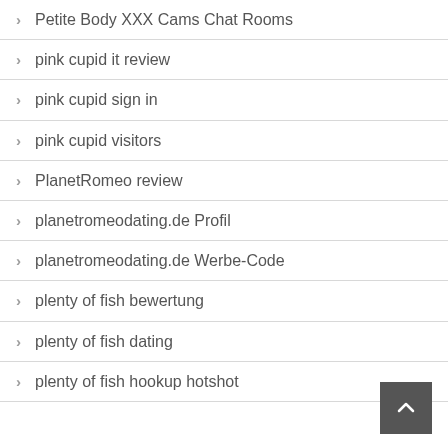Petite Body XXX Cams Chat Rooms
pink cupid it review
pink cupid sign in
pink cupid visitors
PlanetRomeo review
planetromeodating.de Profil
planetromeodating.de Werbe-Code
plenty of fish bewertung
plenty of fish dating
plenty of fish hookup hotshot